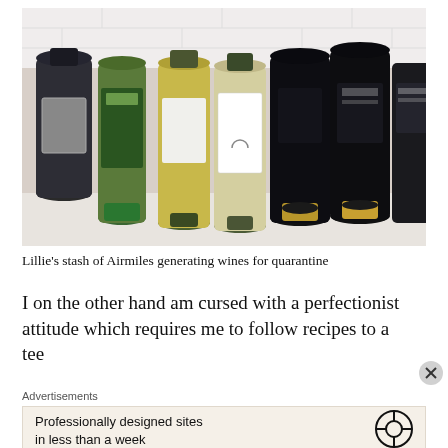[Figure (photo): Seven wine bottles lying on their sides on a white surface. Mix of dark and light/green glass bottles with various labels, some with gold foil capsules.]
Lillie's stash of Airmiles generating wines for quarantine
I on the other hand am cursed with a perfectionist attitude which requires me to follow recipes to a tee
Advertisements
Professionally designed sites in less than a week